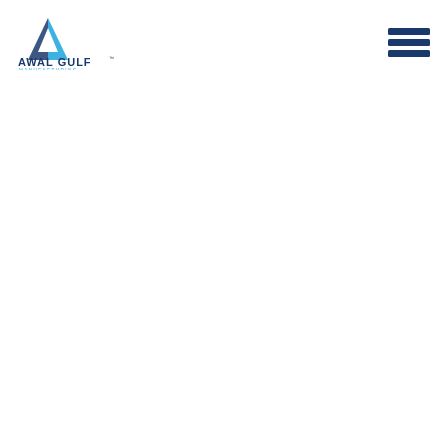[Figure (logo): Awal Gulf Manufacturing logo: blue triangle/mountain shape above the text AWAL GULF in bold dark blue, with MANUFACTURING in small spaced letters below]
[Figure (other): Hamburger menu icon: three horizontal dark navy blue lines stacked vertically, positioned in the top right area]